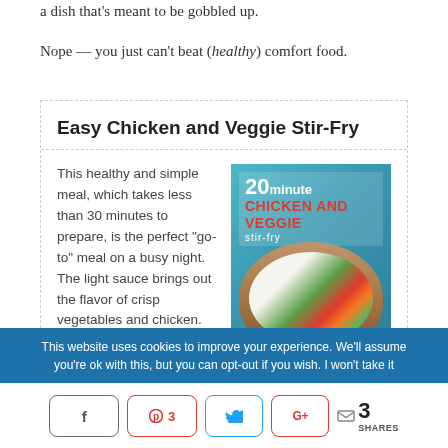a dish that's meant to be gobbled up.
Nope — you just can't beat (healthy) comfort food.
Easy Chicken and Veggie Stir-Fry
This healthy and simple meal, which takes less than 30 minutes to prepare, is the perfect "go-to" meal on a busy night. The light sauce brings out the flavor of crisp vegetables and chicken.
[Figure (photo): Book cover image: 20 Minute Chicken and Veggie Stir-Fry with a bowl of stir-fry food with rice, vegetables including broccoli, red peppers, and carrots with chopsticks]
Author: Rachel Lacy
This website uses cookies to improve your experience. We'll assume you're ok with this, but you can opt-out if you wish. I won't take it
f  |  p 3  |  Twitter  |  G+  |  < 3 SHARES